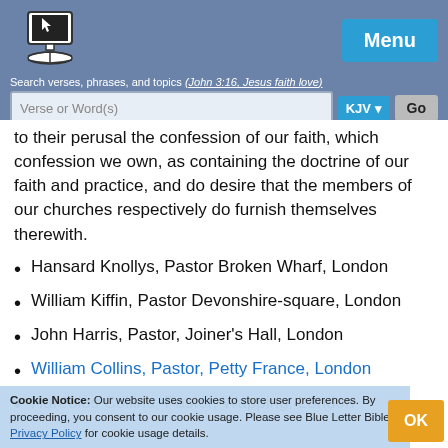Search verses, phrases, and topics (e.g. John 3:16, Jesus faith love)
to their perusal the confession of our faith, which confession we own, as containing the doctrine of our faith and practice, and do desire that the members of our churches respectively do furnish themselves therewith.
Hansard Knollys, Pastor Broken Wharf, London
William Kiffin, Pastor Devonshire-square, London
John Harris, Pastor, Joiner's Hall, London
William Collins, Pastor, Petty France, London
Hureulos Collins, Pastor, Wapping, London
Cookie Notice: Our website uses cookies to store user preferences. By proceeding, you consent to our cookie usage. Please see Blue Letter Bible's Privacy Policy for cookie usage details.